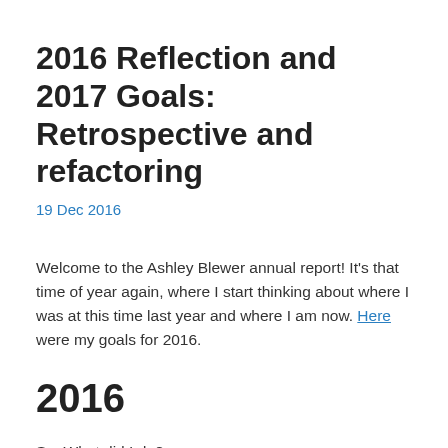2016 Reflection and 2017 Goals: Retrospective and refactoring
19 Dec 2016
Welcome to the Ashley Blewer annual report! It’s that time of year again, where I start thinking about where I was at this time last year and where I am now. Here were my goals for 2016.
2016
So. What did I do?
Working